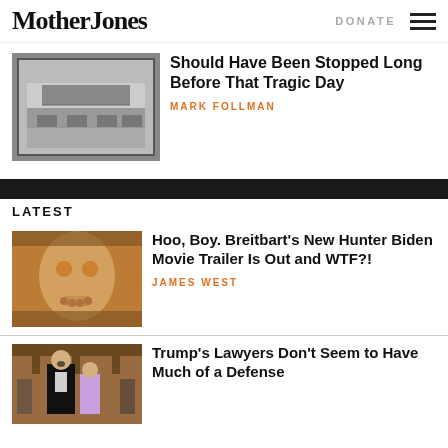Mother Jones
DONATE
[Figure (photo): Black and white photo of empty classroom with desks and chalkboard]
Should Have Been Stopped Long Before That Tragic Day
MARK FOLLMAN
LATEST
[Figure (photo): Photo of man with painted face holding chin, warm orange tones]
Hoo, Boy. Breitbart’s New Hunter Biden Movie Trailer Is Out and WTF?!
JAMES WEST
[Figure (photo): Photo of Trump in tuxedo speaking at event with woman beside him]
Trump’s Lawyers Don’t Seem to Have Much of a Defense